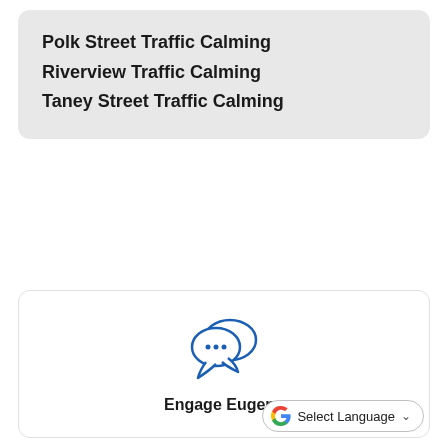Polk Street Traffic Calming
Riverview Traffic Calming
Taney Street Traffic Calming
[Figure (illustration): Two overlapping speech bubble icons in blue outline style, with three dots inside the front bubble]
Engage Eugene
Select Language